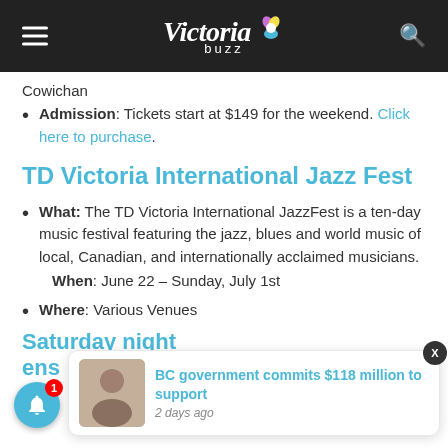Victoria buzz
Cowichan
Admission: Tickets start at $149 for the weekend. Click here to purchase.
TD Victoria International Jazz Fest
What: The TD Victoria International JazzFest is a ten-day music festival featuring the jazz, blues and world music of local, Canadian, and internationally acclaimed musicians. When: June 22 – Sunday, July 1st
Where: Various Venues
Saturday night...
[Figure (screenshot): Notification popup showing BC government commits $118 million to support, 2 days ago]